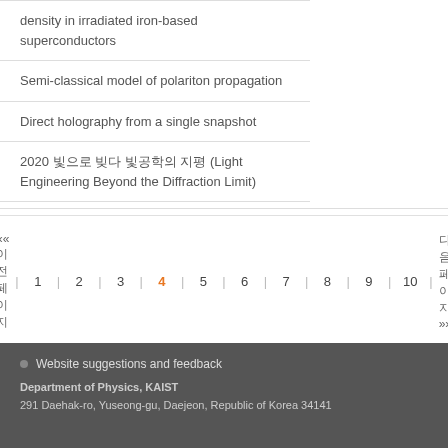density in irradiated iron-based superconductors
Semi-classical model of polariton propagation
Direct holography from a single snapshot
2020 빛으로 빚다 빛공학의 지평 (Light Engineering Beyond the Diffraction Limit)
« 이 전페이지  1  2  3  4  5  6  7  8  9  10  다 음페이지 »
검색
Website suggestions and feedback
Department of Physics, KAIST
291 Daehak-ro, Yuseong-gu, Daejeon, Republic of Korea 34141
Copyright (C) 2018 KAIST. All Rights Reserved.